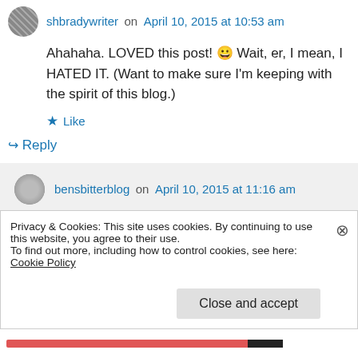shbradywriter on April 10, 2015 at 10:53 am
Ahahaha. LOVED this post! 😀 Wait, er, I mean, I HATED IT. (Want to make sure I'm keeping with the spirit of this blog.)
★ Like
↪ Reply
bensbitterblog on April 10, 2015 at 11:16 am
Thankbl mean yeah it was pretty lame
Privacy & Cookies: This site uses cookies. By continuing to use this website, you agree to their use.
To find out more, including how to control cookies, see here: Cookie Policy
Close and accept